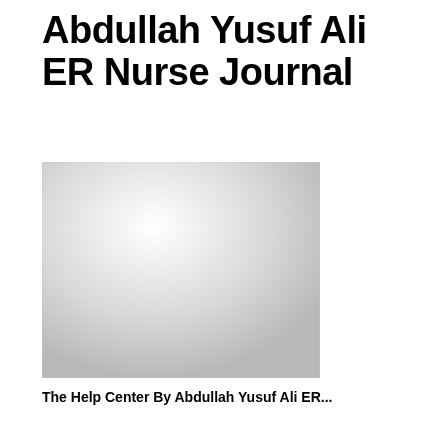Abdullah Yusuf Ali ER Nurse Journal
[Figure (photo): A light gray rectangular image placeholder, appearing as a blank or nearly blank page with a subtle gradient, representing a journal cover or document image.]
The Help Center By Abdullah Yusuf Ali ER...